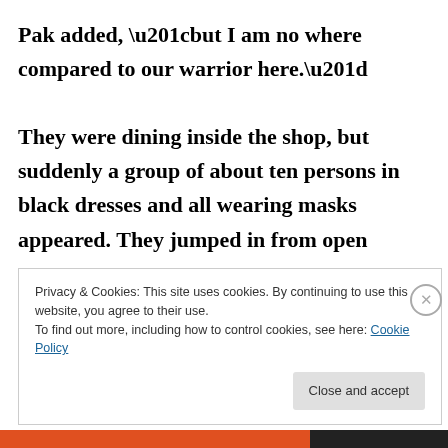Pak added, “but I am no where compared to our warrior here.” They were dining inside the shop, but suddenly a group of about ten persons in black dresses and all wearing masks appeared. They jumped in from open
Privacy & Cookies: This site uses cookies. By continuing to use this website, you agree to their use.
To find out more, including how to control cookies, see here: Cookie Policy